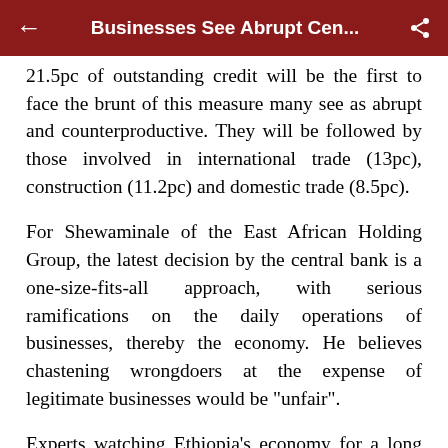Businesses See Abrupt Cen...
21.5pc of outstanding credit will be the first to face the brunt of this measure many see as abrupt and counterproductive. They will be followed by those involved in international trade (13pc), construction (11.2pc) and domestic trade (8.5pc).
For Shewaminale of the East African Holding Group, the latest decision by the central bank is a one-size-fits-all approach, with serious ramifications on the daily operations of businesses, thereby the economy. He believes chastening wrongdoers at the expense of legitimate businesses would be "unfair".
Experts watching Ethiopia's economy for a long time voice similar concerns.
Abdulmenan Mohammed, a financial expert with almost two decades of experience monitoring